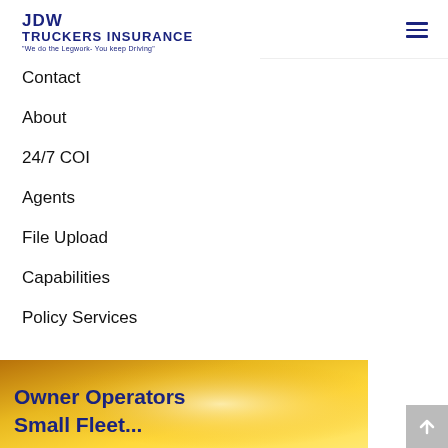JDW TRUCKERS INSURANCE "We do the Legwork- You keep Driving"
Contact
About
24/7 COI
Agents
File Upload
Capabilities
Policy Services
[Figure (illustration): Banner image with golden/yellow gradient background showing text 'Owner Operators' and partially visible 'Small Fleet...' in dark navy bold font]